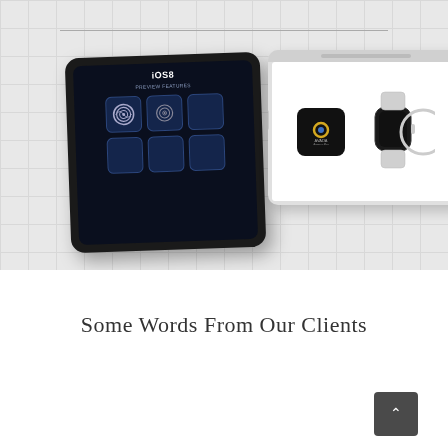[Figure (photo): Two tablets on a light gray grid background. Left: black tablet showing iOS8 app grid screen with fingerprint icons and dark blue app icons. Right: white tablet showing Apple Watch with Avada logo icon on white background. A thin horizontal divider line appears near the top.]
Some Words From Our Clients
[Figure (other): Muted blue-gray section at the bottom with a dark gray back-to-top button with a caret/up-arrow symbol on the right side.]